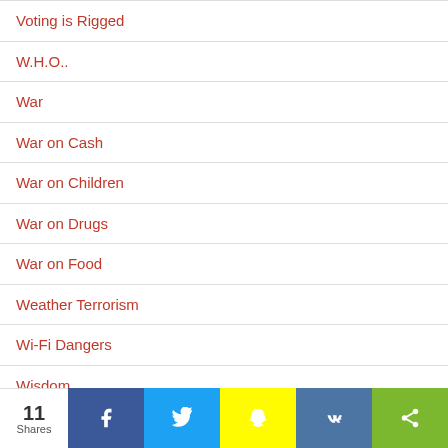Voting is Rigged
W.H.O..
War
War on Cash
War on Children
War on Drugs
War on Food
Weather Terrorism
Wi-Fi Dangers
Wisdom
World Economic Forum
11 Shares | Facebook | Twitter | Snapchat | VK | Share